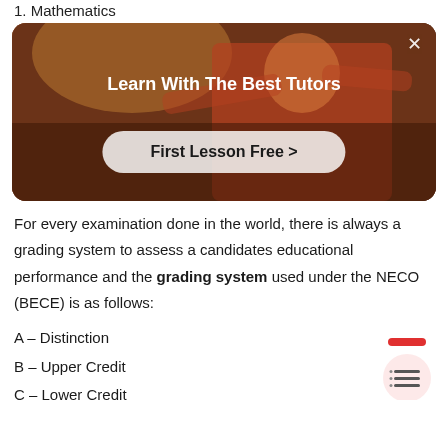1. Mathematics
[Figure (photo): Advertisement banner with a person in a red shirt. Text reads 'Learn With The Best Tutors' and a button 'First Lesson Free >']
For every examination done in the world, there is always a grading system to assess a candidates educational performance and the grading system used under the NECO (BECE) is as follows:
A – Distinction
B – Upper Credit
C – Lower Credit